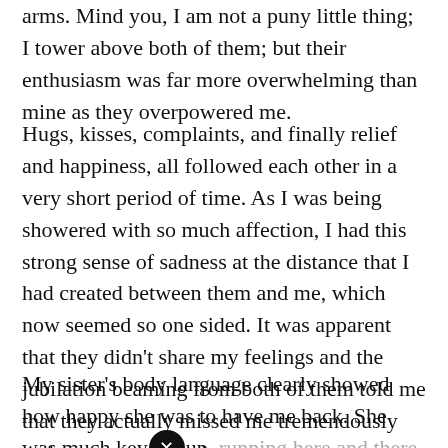arms. Mind you, I am not a puny little thing; I tower above both of them; but their enthusiasm was far more overwhelming than mine as they overpowered me.
Hugs, kisses, complaints, and finally relief and happiness, all followed each other in a very short period of time. As I was being showered with so much affection, I had this strong sense of sadness at the distance that I had created between them and me, which now seemed so one sided. It was apparent that they didn't share my feelings and the jubilation beaming from both of them told me that they actually missed me tremendously and were now over the moon at my return.
My sister's body language clearly showed how happy she was to have me back. She was much keyed up, running here and there, getting coffee ready, bringing me something cold to drink, or taking my bag into my